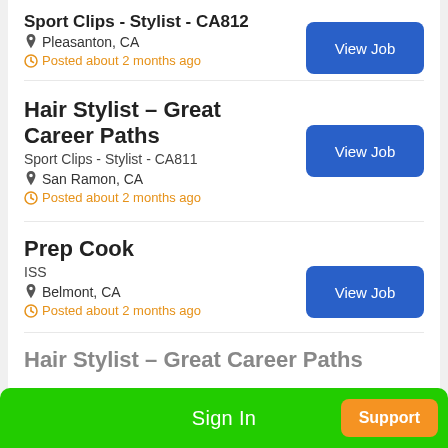Sport Clips - Stylist - CA812 | Pleasanton, CA | Posted about 2 months ago
Hair Stylist – Great Career Paths | Sport Clips - Stylist - CA811 | San Ramon, CA | Posted about 2 months ago
Prep Cook | ISS | Belmont, CA | Posted about 2 months ago
Hair Stylist – Great Career Paths
Sign In | Support